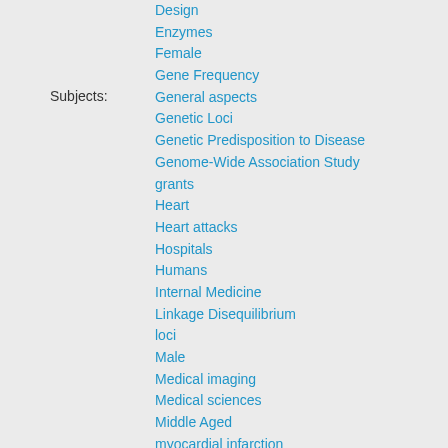Subjects:
Design
Enzymes
Female
Gene Frequency
General aspects
Genetic Loci
Genetic Predisposition to Disease
Genome-Wide Association Study
grants
Heart
Heart attacks
Hospitals
Humans
Internal Medicine
Linkage Disequilibrium
loci
Male
Medical imaging
Medical sciences
Middle Aged
myocardial infarction
Myocardial Infarction - blood
Myocardial Infarction - complications
Myocardial Infarction - diagnostic imaging
Myocardial Infarction - genetics
patients
Polymorphism, Single Nucleotide
Risk assessment